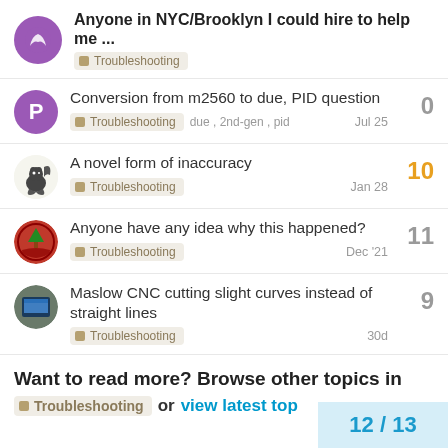Anyone in NYC/Brooklyn I could hire to help me ... — Troubleshooting
Conversion from m2560 to due, PID question — Troubleshooting — due, 2nd-gen, pid — Jul 25 — 0 replies
A novel form of inaccuracy — Troubleshooting — Jan 28 — 10 replies
Anyone have any idea why this happened? — Troubleshooting — Dec '21 — 11 replies
Maslow CNC cutting slight curves instead of straight lines — Troubleshooting — 30d — 9 replies
Want to read more? Browse other topics in Troubleshooting or view latest top
12 / 13